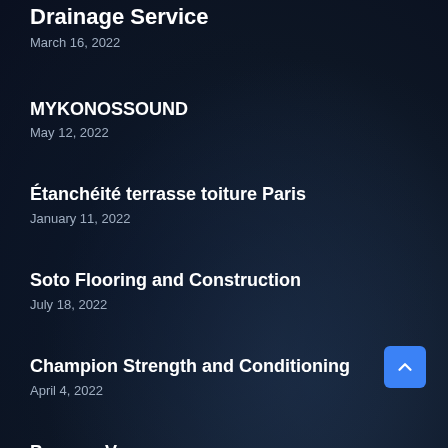Drainage Service
March 16, 2022
MYKONOSSOUND
May 12, 2022
Étanchéité terrasse toiture Paris
January 11, 2022
Soto Flooring and Construction
July 18, 2022
Champion Strength and Conditioning
April 4, 2022
Process Vacuum
March 7, 2022